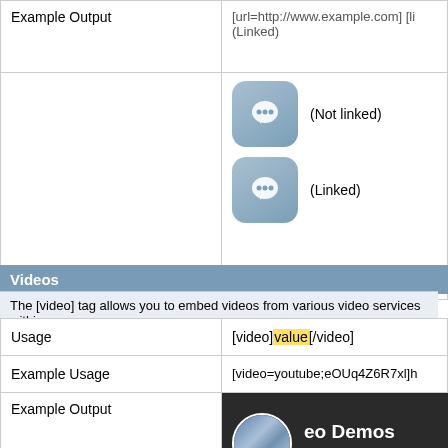|  |  |
| --- | --- |
| Example Output | (icon: speech bubble Not linked)
(icon: speech bubble Linked) |
Videos
The [video] tag allows you to embed videos from various video services within your po
|  |  |
| --- | --- |
| Usage | [video]value[/video] |
| Example Usage | [video=youtube;eOUq4Z6R7xl]h |
| Example Output | (video preview screenshot) |
[Figure (screenshot): Video demo screenshot showing vBulletin Pre-Po forum, with Calendar and Today's Posts nav links, Saab forum sub-links, and photos section]